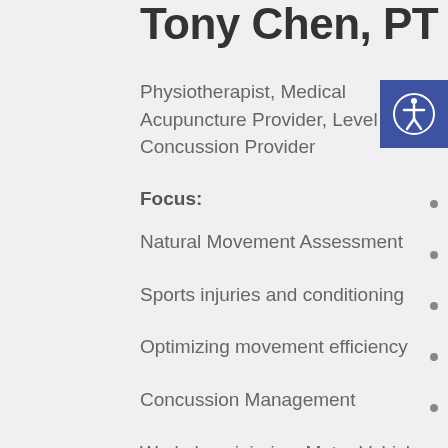Tony Chen, PT
Physiotherapist, Medical Acupuncture Provider, Level II Shift Concussion Provider
Focus:
Natural Movement Assessment
Sports injuries and conditioning
Optimizing movement efficiency
Concussion Management
Workplace injuries, Motor Vehicle Accidents, Post-operative care